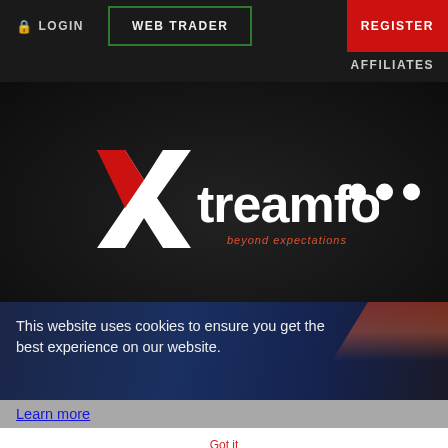LOGIN  WEB TRADER  REGISTER  AFFILIATES
[Figure (logo): Xtreamforex logo — large white X with red accent on dark background, text 'Xtreamforex beyond expectations']
This website uses cookies to ensure you get the best experience on our website.
Learn more
PM Contest Going to New Shape With Yen and Dollar Continues Goes Down